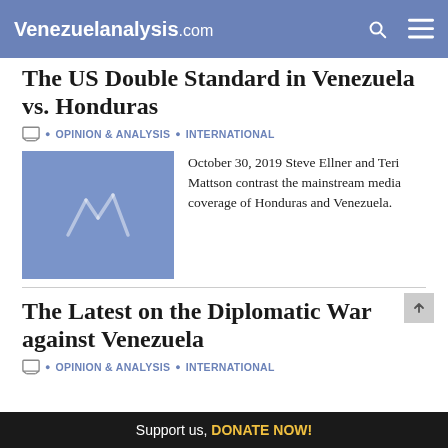Venezuelanalysis.com
The US Double Standard in Venezuela vs. Honduras
OPINION & ANALYSIS • INTERNATIONAL
[Figure (logo): Venezuelanalysis.com blue placeholder thumbnail with stylized VA logo]
October 30, 2019 Steve Ellner and Teri Mattson contrast the mainstream media coverage of Honduras and Venezuela.
The Latest on the Diplomatic War against Venezuela
OPINION & ANALYSIS • INTERNATIONAL
Support us, DONATE NOW!